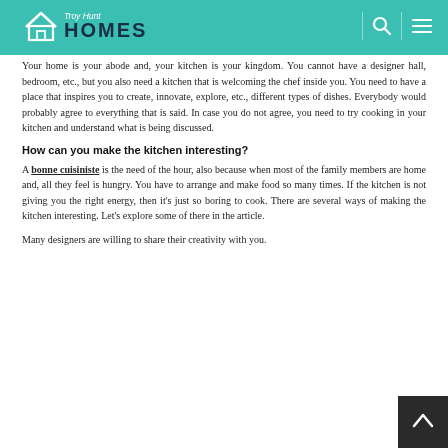Troy Hunt HOMES
Your home is your abode and, your kitchen is your kingdom. You cannot have a designer hall, bedroom, etc., but you also need a kitchen that is welcoming the chef inside you. You need to have a place that inspires you to create, innovate, explore, etc., different types of dishes. Everybody would probably agree to everything that is said. In case you do not agree, you need to try cooking in your kitchen and understand what is being discussed.
How can you make the kitchen interesting?
A bonne cuisiniste is the need of the hour, also because when most of the family members are home and, all they feel is hungry. You have to arrange and make food so many times. If the kitchen is not giving you the right energy, then it's just so boring to cook. There are several ways of making the kitchen interesting. Let's explore some of there in the article.
Many designers are willing to share their creativity with you.